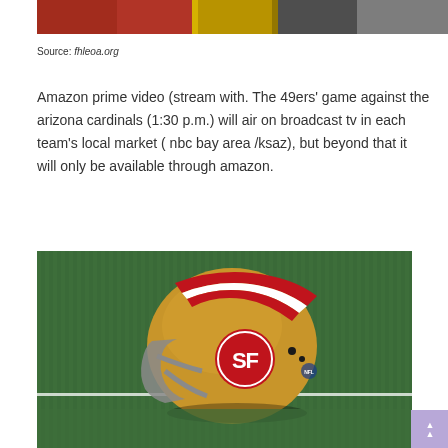[Figure (photo): Cropped top portion of a sports-related photo showing people in team colors (red/gold and dark), partially cut off at the top of the page]
Source: fhleoa.org
Amazon prime video (stream with. The 49ers' game against the arizona cardinals (1:30 p.m.) will air on broadcast tv in each team's local market ( nbc bay area /ksaz), but beyond that it will only be available through amazon.
[Figure (photo): San Francisco 49ers gold football helmet with red and white stripes and SF logo, resting on green turf field]